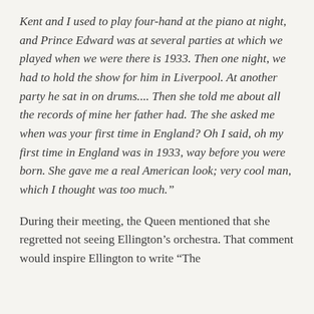Kent and I used to play four-hand at the piano at night, and Prince Edward was at several parties at which we played when we were there is 1933. Then one night, we had to hold the show for him in Liverpool. At another party he sat in on drums.... Then she told me about all the records of mine her father had. The she asked me when was your first time in England? Oh I said, oh my first time in England was in 1933, way before you were born. She gave me a real American look; very cool man, which I thought was too much.”
During their meeting, the Queen mentioned that she regretted not seeing Ellington’s orchestra. That comment would inspire Ellington to write “The